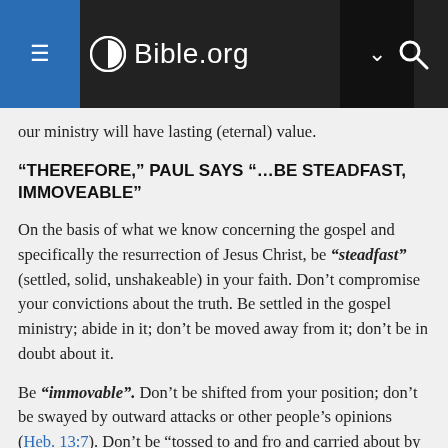Bible.org
our ministry will have lasting (eternal) value.
“THEREFORE,” PAUL SAYS “…BE STEADFAST, IMMOVEABLE”
On the basis of what we know concerning the gospel and specifically the resurrection of Jesus Christ, be “steadfast” (settled, solid, unshakeable) in your faith. Don’t compromise your convictions about the truth. Be settled in the gospel ministry; abide in it; don’t be moved away from it; don’t be in doubt about it.
Be “immovable”. Don’t be shifted from your position; don’t be swayed by outward attacks or other people’s opinions (Heb. 13:7). Don’t be “tossed to and fro and carried about by every wind of doctrine” (Eph. 4:14). But rather stand firm against spiritual assaults. Be unchanging, consistent in